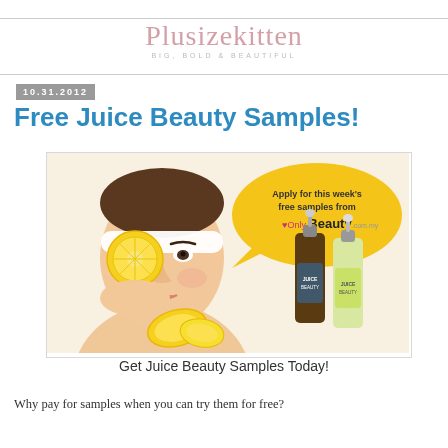[Figure (logo): Plusizekitten blog logo in cursive pink script with tagline BIG, BOLD & BEAUTIFUL]
10.31.2012
Free Juice Beauty Samples!
[Figure (photo): Promotional image showing a woman holding lemon slices to her face, with a yellow speech bubble saying 'Apply for this week's free samples from OnlyBeauty.com.my' and two Juice Beauty serum bottles]
Get Juice Beauty Samples Today!
Why pay for samples when you can try them for free?